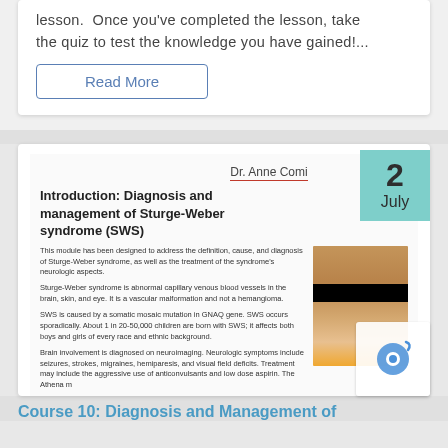lesson.  Once you've completed the lesson, take the quiz to test the knowledge you have gained!...
Read More
Dr. Anne Comi
Introduction: Diagnosis and management of Sturge-Weber syndrome (SWS)
This module has been designed to address the definition, cause, and diagnosis of Sturge-Weber syndrome, as well as the treatment of the syndrome's neurologic aspects.
Sturge-Weber syndrome is abnormal capillary venous blood vessels in the brain, skin, and eye. It is a vascular malformation and not a hemangioma.
SWS is caused by a somatic mosaic mutation in GNAQ gene. SWS occurs sporadically. About 1 in 20-50,000 children are born with SWS; it affects both boys and girls of every race and ethnic background.
Brain involvement is diagnosed on neuroimaging. Neurologic symptoms include seizures, strokes, migraines, hemiparesis, and visual field deficits. Treatment may include the aggressive use of anticonvulsants and low dose aspirin. The Athena m
[Figure (photo): Photo of a child with Sturge-Weber syndrome, with a black bar over the eyes for anonymization.]
2 July
Course 10: Diagnosis and Management of